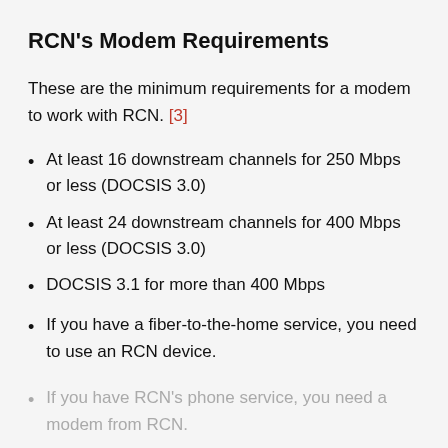RCN's Modem Requirements
These are the minimum requirements for a modem to work with RCN. [3]
At least 16 downstream channels for 250 Mbps or less (DOCSIS 3.0)
At least 24 downstream channels for 400 Mbps or less (DOCSIS 3.0)
DOCSIS 3.1 for more than 400 Mbps
If you have a fiber-to-the-home service, you need to use an RCN device.
If you have RCN's phone service, you need a modem from RCN.